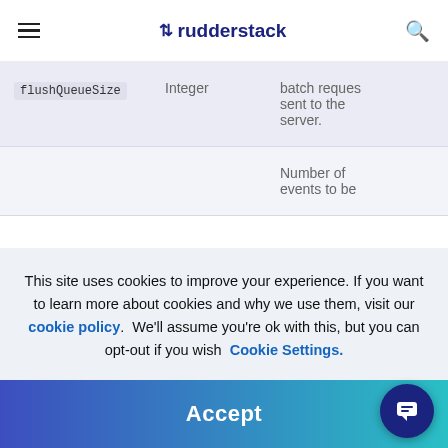rudderstack
| Field | Type | Description |
| --- | --- | --- |
| flushQueueSize | Integer | batch requests sent to the server. |
|  |  | Number of events to be |
This site uses cookies to improve your experience. If you want to learn more about cookies and why we use them, visit our cookie policy.  We'll assume you're ok with this, but you can opt-out if you wish  Cookie Settings.
Accept